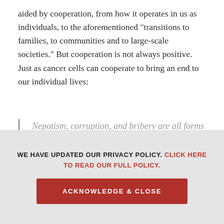aided by cooperation, from how it operates in us as individuals, to the aforementioned “transitions to families, to communities and to large-scale societies.” But cooperation is not always positive. Just as cancer cells can cooperate to bring an end to our individual lives:
Nepotism, corruption, and bribery are all forms of cooperation, occurring among a minority of individuals while imposing larger costs to society.
We face both urgent crises and profound, existential challenges as a species, but we have the ability to
WE HAVE UPDATED OUR PRIVACY POLICY. CLICK HERE TO READ OUR FULL POLICY.
ACKNOWLEDGE & CLOSE